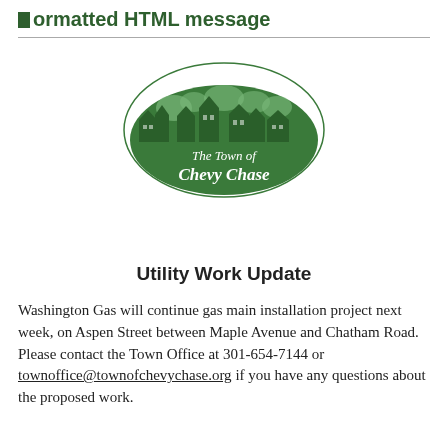Formatted HTML message
[Figure (logo): Oval green logo of The Town of Chevy Chase with silhouette of houses and trees]
Utility Work Update
Washington Gas will continue gas main installation project next week, on Aspen Street between Maple Avenue and Chatham Road.  Please contact the Town Office at 301-654-7144 or townoffice@townofchevychase.org if you have any questions about the proposed work.